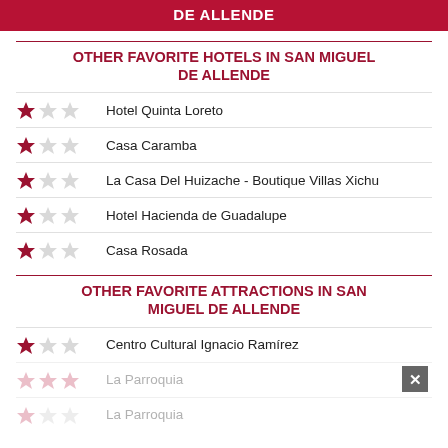DE ALLENDE
OTHER FAVORITE HOTELS IN SAN MIGUEL DE ALLENDE
Hotel Quinta Loreto
Casa Caramba
La Casa Del Huizache - Boutique Villas Xichu
Hotel Hacienda de Guadalupe
Casa Rosada
OTHER FAVORITE ATTRACTIONS IN SAN MIGUEL DE ALLENDE
Centro Cultural Ignacio Ramírez
La Parroquia
La Parroquia